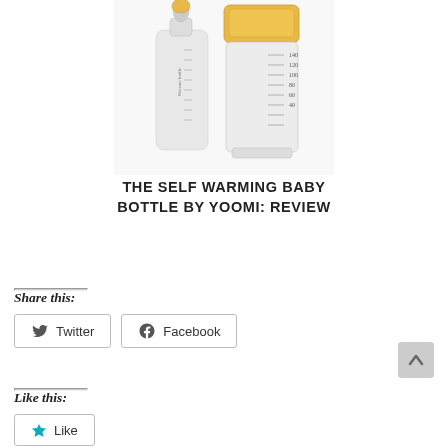[Figure (photo): Product photo of a self-warming baby bottle by Yoomi, showing a baby bottle with yellow cap and a warmer unit, with measurement markings visible on the bottle.]
THE SELF WARMING BABY BOTTLE BY YOOMI: REVIEW
Share this:
Twitter
Facebook
Like this:
Like